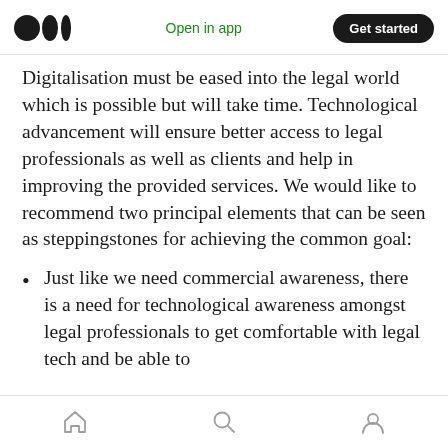Open in app | Get started
Digitalisation must be eased into the legal world which is possible but will take time. Technological advancement will ensure better access to legal professionals as well as clients and help in improving the provided services. We would like to recommend two principal elements that can be seen as steppingstones for achieving the common goal:
Just like we need commercial awareness, there is a need for technological awareness amongst legal professionals to get comfortable with legal tech and be able to
Home | Search | Profile